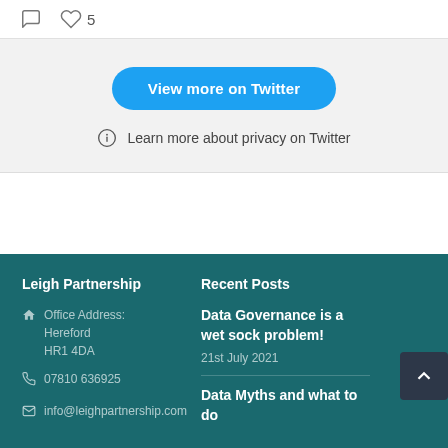[Figure (screenshot): Twitter interaction bar with comment icon and heart icon with count 5]
[Figure (screenshot): Twitter embed footer with 'View more on Twitter' blue button and privacy info note]
Leigh Partnership
Office Address: Hereford HR1 4DA
07810 636925
info@leighpartnership.com
Recent Posts
Data Governance is a wet sock problem!
21st July 2021
Data Myths and what to do